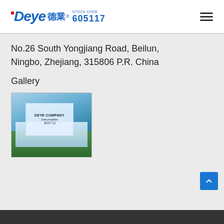iDeye 德業® STOCK CODE 605117
No.26 South Yongjiang Road, Beilun, Ningbo, Zhejiang, 315806 P.R. China
Gallery
[Figure (photo): Product catalog cover for DEYE COMPANY Dehumidifier series, overlaid on an aerial photo of a building complex surrounded by greenery.]